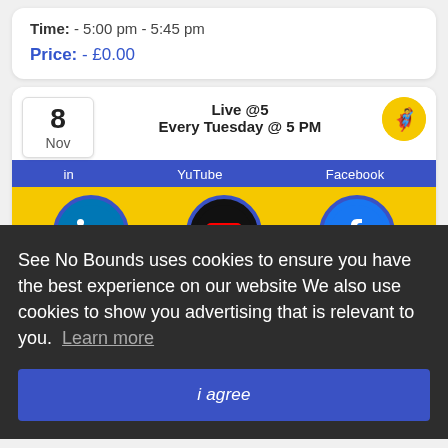Time: - 5:00 pm - 5:45 pm
Price: - £0.00
[Figure (screenshot): Event listing card showing 'Live @5 Every Tuesday @ 5 PM' with date box showing '8 Nov', social platform icons for LinkedIn, YouTube, and Facebook on a yellow background with blue bar]
See No Bounds uses cookies to ensure you have the best experience on our website We also use cookies to show you advertising that is relevant to you. Learn more
i agree